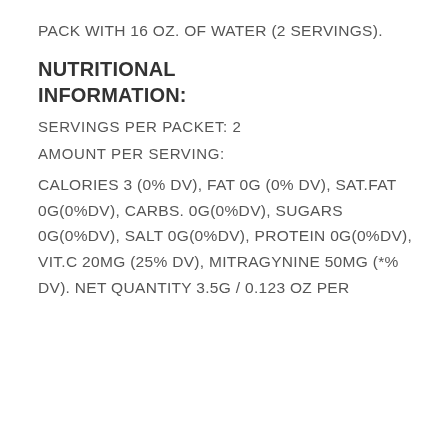PACK WITH 16 OZ. OF WATER (2 SERVINGS).
NUTRITIONAL INFORMATION:
SERVINGS PER PACKET: 2
AMOUNT PER SERVING:
CALORIES 3 (0% DV), FAT 0G (0% DV), SAT.FAT 0G(0%DV), CARBS. 0G(0%DV), SUGARS 0G(0%DV), SALT 0G(0%DV), PROTEIN 0G(0%DV), VIT.C 20MG (25% DV), MITRAGYNINE 50MG (*% DV). NET QUANTITY 3.5G / 0.123 OZ PER